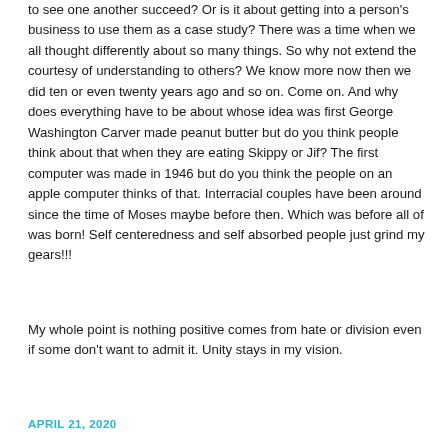to see one another succeed? Or is it about getting into a person's business to use them as a case study? There was a time when we all thought differently about so many things. So why not extend the courtesy of understanding to others? We know more now then we did ten or even twenty years ago and so on. Come on. And why does everything have to be about whose idea was first George Washington Carver made peanut butter but do you think people think about that when they are eating Skippy or Jif? The first computer was made in 1946 but do you think the people on an apple computer thinks of that. Interracial couples have been around since the time of Moses maybe before then. Which was before all of was born! Self centeredness and self absorbed people just grind my gears!!!
My whole point is nothing positive comes from hate or division even if some don't want to admit it. Unity stays in my vision.
APRIL 21, 2020